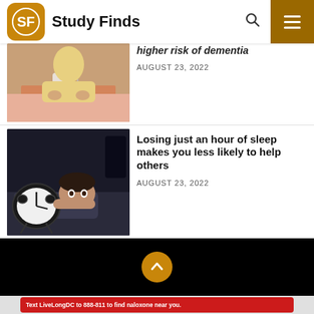Study Finds
[Figure (photo): Elderly person holding a mug at a table]
higher risk of dementia
AUGUST 23, 2022
[Figure (photo): Person lying awake in bed next to alarm clock]
Losing just an hour of sleep makes you less likely to help others
AUGUST 23, 2022
[Figure (other): Black section with scroll-to-top button (gold circle with up arrow)]
[Figure (other): Advertisement banner: Text LiveLongDC to 888-811 to find naloxone near you]